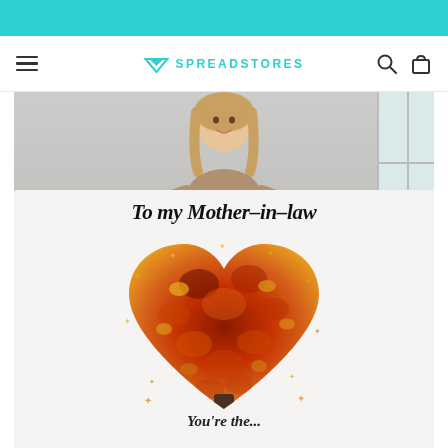[Figure (screenshot): E-commerce website screenshot showing the Spreadstores logo and navigation bar with a teal top banner, hamburger menu, search icon, and cart icon.]
[Figure (photo): Product photo of a woman holding a large white fleece blanket printed with 'To my Mother-in-law' text and an autumn heart tree design made of red, orange, and gold leaves. Partial text at the bottom reads 'You're the...']